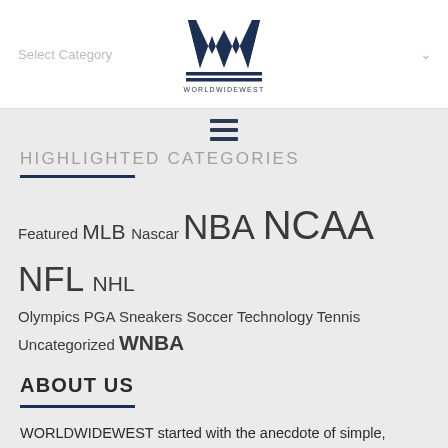Select Category | WORLDWIDEWEST logo
[Figure (logo): WORLDWIDEWEST logo with stylized W and text WORLDWIDEWEST below]
[Figure (other): Hamburger menu icon (three horizontal lines)]
HIGHLIGHTED CATEGORIES
Featured MLB Nascar NBA NCAA NFL NHL Olympics PGA Sneakers Soccer Technology Tennis Uncategorized WNBA
ABOUT US
WORLDWIDEWEST started with the anecdote of simple, factual, light humor writing with sports being the canvas, pop culture used as the paintbrush and global topics the paint itself. Our passion behind WORLDWIDEWEST comes from sports